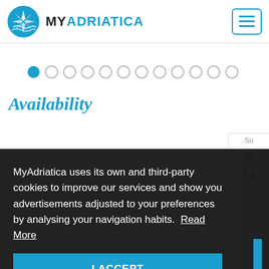MY ADRIATICA
[Figure (illustration): Carousel pagination dots: first dot filled blue, remaining 11 dots empty/grey]
Availability
MyAdriatica uses its own and third-party cookies to improve our services and show you advertisements adjusted to your preferences by analysing your navigation habits. Read More
I ACCEPT